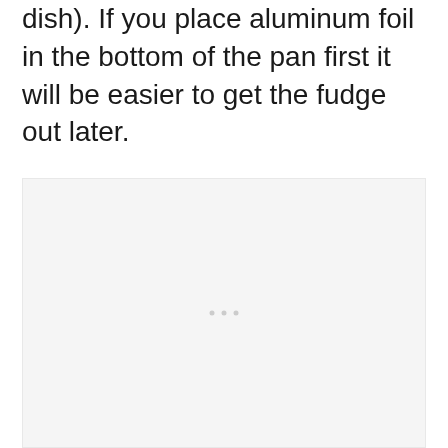dish). If you place aluminum foil in the bottom of the pan first it will be easier to get the fudge out later.
[Figure (photo): A mostly blank/loading image placeholder area with a light gray background and three small gray dots in the center, representing an image that has not yet loaded.]